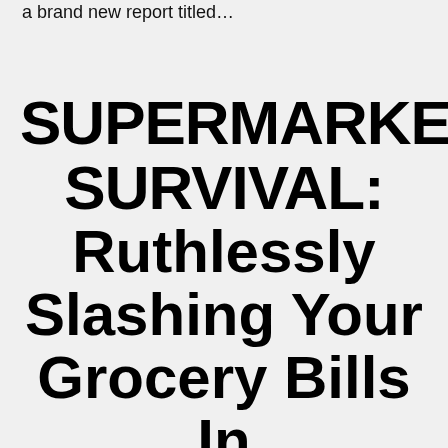a brand new report titled…
SUPERMARKET SURVIVAL: Ruthlessly Slashing Your Grocery Bills In